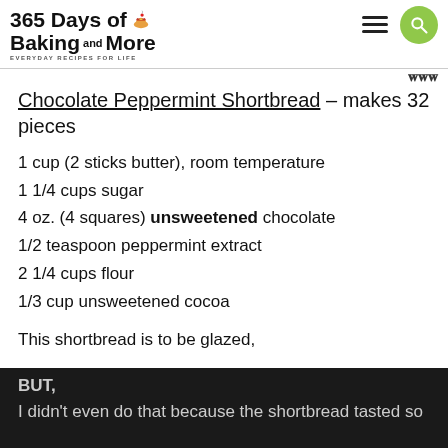365 Days of Baking and More – EVERYDAY RECIPES FOR LIFE
Chocolate Peppermint Shortbread – makes 32 pieces
1 cup (2 sticks butter), room temperature
1 1/4 cups sugar
4 oz. (4 squares) unsweetened chocolate
1/2 teaspoon peppermint extract
2 1/4 cups flour
1/3 cup unsweetened cocoa
This shortbread is to be glazed,
BUT,
I didn't even do that because the shortbread tasted so